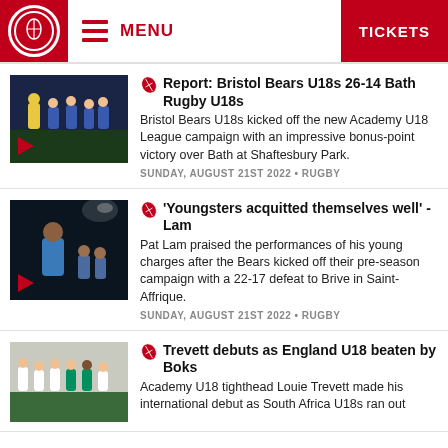MENU | TICKETS
Report: Bristol Bears U18s 26-14 Bath Rugby U18s
Bristol Bears U18s kicked off the new Academy U18 League campaign with an impressive bonus-point victory over Bath at Shaftesbury Park.
SUNDAY, AUGUST 21ST 2022 • RUGBY
'Youngsters acquitted themselves well' - Lam
Pat Lam praised the performances of his young charges after the Bears kicked off their pre-season campaign with a 22-17 defeat to Brive in Saint-Affrique.
SUNDAY, AUGUST 21ST 2022 • RUGBY
Trevett debuts as England U18 beaten by Boks
Academy U18 tighthead Louie Trevett made his international debut as South Africa U18s ran out